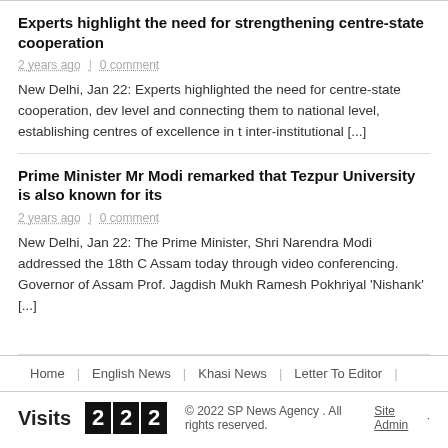Experts highlight the need for strengthening centre-state cooperation
2 years ago | 0 comment
New Delhi, Jan 22: Experts highlighted the need for centre-state cooperation, dev level and connecting them to national level, establishing centres of excellence in t inter-institutional [...]
Prime Minister Mr Modi remarked that Tezpur University is also known for its
2 years ago | 0 comment
New Delhi, Jan 22: The Prime Minister, Shri Narendra Modi addressed the 18th C Assam today through video conferencing. Governor of Assam Prof. Jagdish Mukh Ramesh Pokhriyal 'Nishank' [...]
Home | English News | Khasi News | Letter To Editor |
Visits 222 © 2022 SP News Agency . All rights reserved. Site Admin ·